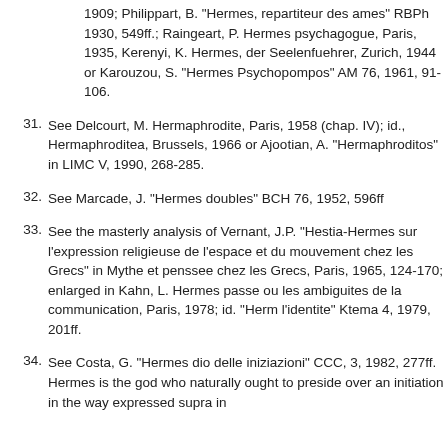(continuation) 1909; Philippart, B. "Hermes, repartiteur des ames" RBPh 1930, 549ff.; Raingeart, P. Hermes psychagogue, Paris, 1935, Kerenyi, K. Hermes, der Seelenfuehrer, Zurich, 1944 or Karouzou, S. "Hermes Psychopompos" AM 76, 1961, 91-106.
31. See Delcourt, M. Hermaphrodite, Paris, 1958 (chap. IV); id., Hermaphroditea, Brussels, 1966 or Ajootian, A. "Hermaphroditos" in LIMC V, 1990, 268-285.
32. See Marcade, J. "Hermes doubles" BCH 76, 1952, 596ff
33. See the masterly analysis of Vernant, J.P. "Hestia-Hermes sur l'expression religieuse de l'espace et du mouvement chez les Grecs" in Mythe et penssee chez les Grecs, Paris, 1965, 124-170; enlarged in Kahn, L. Hermes passe ou les ambiguites de la communication, Paris, 1978; id. "Herm l'identite" Ktema 4, 1979, 201ff.
34. See Costa, G. "Hermes dio delle iniziazioni" CCC, 3, 1982, 277ff. Hermes is the god who naturally ought to preside over an initiation in the way expressed supra in